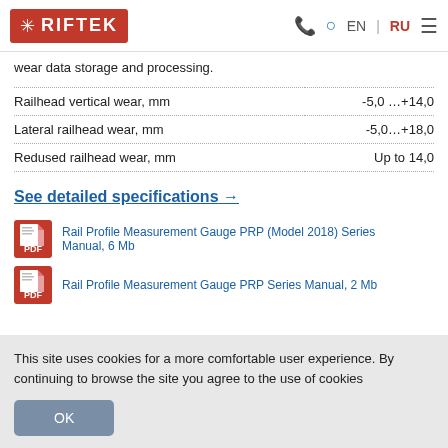RIFTEK | EN | RU
wear data storage and processing.
| Parameter | Value |
| --- | --- |
| Railhead vertical wear, mm | -5,0 …+14,0 |
| Lateral railhead wear, mm | -5,0…+18,0 |
| Redused railhead wear, mm | Up to 14,0 |
See detailed specifications →
Rail Profile Measurement Gauge PRP (Model 2018) Series Manual, 6 Mb
Rail Profile Measurement Gauge PRP Series Manual, 2 Mb
This site uses cookies for a more comfortable user experience. By continuing to browse the site you agree to the use of cookies